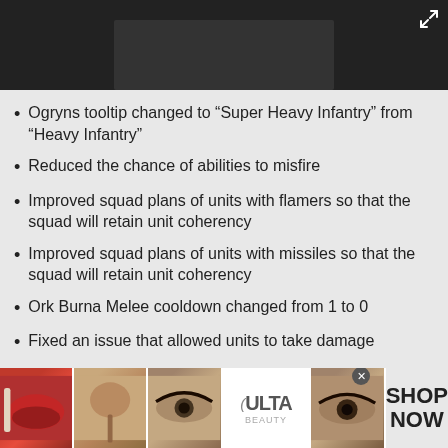[Figure (screenshot): Dark top bar with partially visible game/app screenshot and expand icon in top right corner]
Ogryns tooltip changed to “Super Heavy Infantry” from “Heavy Infantry”
Reduced the chance of abilities to misfire
Improved squad plans of units with flamers so that the squad will retain unit coherency
Improved squad plans of units with missiles so that the squad will retain unit coherency
Ork Burna Melee cooldown changed from 1 to 0
Fixed an issue that allowed units to take damage
[Figure (photo): Advertisement banner showing makeup/beauty products with Ulta Beauty logo and SHOP NOW text]